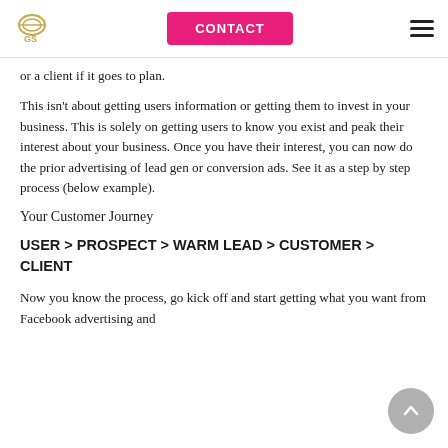GS | CONTACT
or a client if it goes to plan.
This isn't about getting users information or getting them to invest in your business. This is solely on getting users to know you exist and peak their interest about your business. Once you have their interest, you can now do the prior advertising of lead gen or conversion ads. See it as a step by step process (below example).
Your Customer Journey
USER > PROSPECT > WARM LEAD > CUSTOMER > CLIENT
Now you know the process, go kick off and start getting what you want from Facebook advertising and